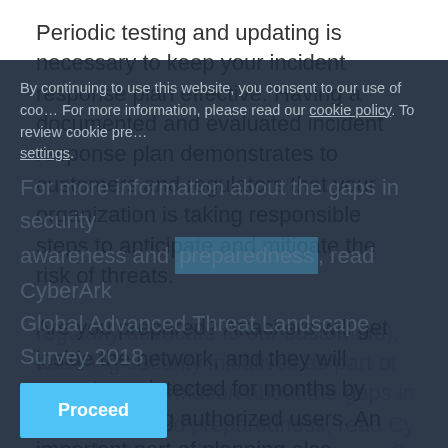Periodic testing and updating is necessary to keep your incident response plan effective. Having a documented and evaluated incident response plan demonstrates to customers and regulators that your organization is taking responsible steps to anticipate and mitigate the risk of threats.
Are you prepared? Attackers will get inside the network, and they will operate undetected for months by impersonating authorized users. An important part of planning also involves taking a proactive, layered approach to security (which we regularly advocate to our customers), while ensuring security initiatives as part of your organization's overall...
For more information about the gaps in security awareness and preparedness, read CyberArk Global Advanced Threat Landscape Survey 2018...
By continuing to use this website, you consent to our use of cookies. For more information, please read our cookie policy. To review cookie preferences, go to settings.